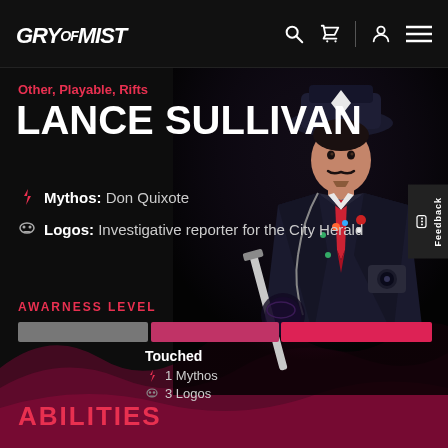City of Mist
Other, Playable, Rifts
LANCE SULLIVAN
Mythos: Don Quixote
Logos: Investigative reporter for the City Herald
AWARNESS LEVEL
[Figure (infographic): Awareness level progress bar divided into three segments: gray, pink, and rose/red, indicating character awareness progression]
Touched
1 Mythos
3 Logos
ABILITIES
[Figure (illustration): Illustrated character of Lance Sullivan: a man in a dark trench coat and hat, holding what appears to be a sword or weapon, wearing a blue shirt and red tie, with camera equipment visible]